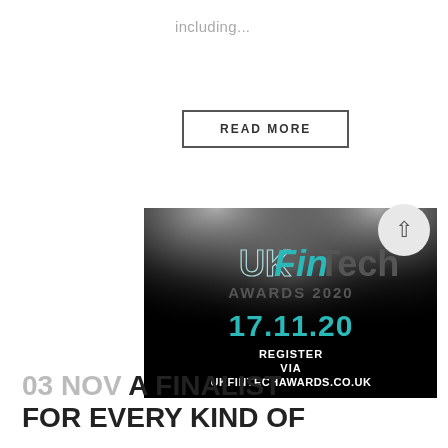including...
READ MORE
[Figure (other): UK FinTech Awards 2020 promotional banner with spotlight background showing the event date 17.11.20 and registration URL UKFINTECHAWARDS.CO.UK]
03 NOV A FINALIST FOR EVERY KIND OF